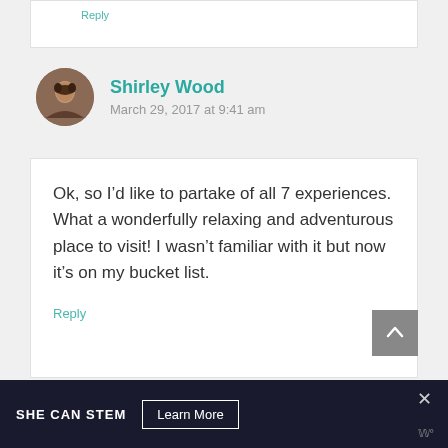Reply
Shirley Wood
March 29, 2017 at 9:41 am
Ok, so I’d like to partake of all 7 experiences. What a wonderfully relaxing and adventurous place to visit! I wasn’t familiar with it but now it’s on my bucket list.
Reply
SHE CAN STEM  Learn More